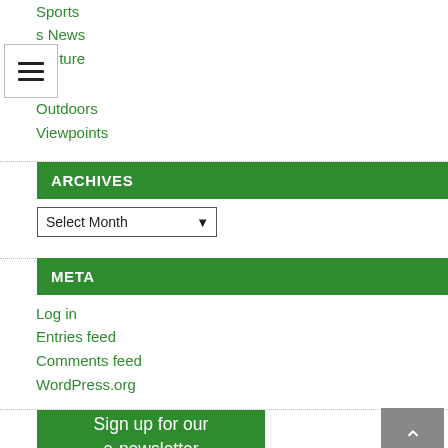Sports
s News
culture
Outdoors
Viewpoints
ARCHIVES
Select Month
META
Log in
Entries feed
Comments feed
WordPress.org
Sign up for our e-newsletter Click Here